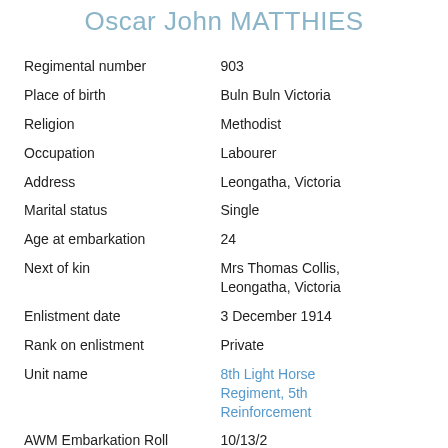Oscar John MATTHIES
| Regimental number | 903 |
| Place of birth | Buln Buln Victoria |
| Religion | Methodist |
| Occupation | Labourer |
| Address | Leongatha, Victoria |
| Marital status | Single |
| Age at embarkation | 24 |
| Next of kin | Mrs Thomas Collis, Leongatha, Victoria |
| Enlistment date | 3 December 1914 |
| Rank on enlistment | Private |
| Unit name | 8th Light Horse Regiment, 5th Reinforcement |
| AWM Embarkation Roll number | 10/13/2 |
| Embarkation details | Unit embarked from Melbourne, Victoria, on |